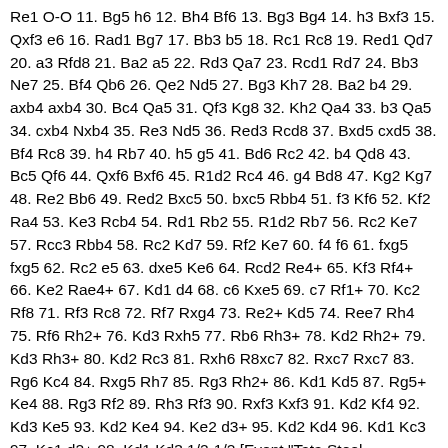Re1 O-O 11. Bg5 h6 12. Bh4 Bf6 13. Bg3 Bg4 14. h3 Bxf3 15. Qxf3 e6 16. Rad1 Bg7 17. Bb3 b5 18. Rc1 Rc8 19. Red1 Qd7 20. a3 Rfd8 21. Ba2 a5 22. Rd3 Qa7 23. Rcd1 Rd7 24. Bb3 Ne7 25. Bf4 Qb6 26. Qe2 Nd5 27. Bg3 Kh7 28. Ba2 b4 29. axb4 axb4 30. Bc4 Qa5 31. Qf3 Kg8 32. Kh2 Qa4 33. b3 Qa5 34. cxb4 Nxb4 35. Re3 Nd5 36. Red3 Rcd8 37. Bxd5 cxd5 38. Bf4 Rc8 39. h4 Rb7 40. h5 g5 41. Bd6 Rc2 42. b4 Qd8 43. Bc5 Qf6 44. Qxf6 Bxf6 45. R1d2 Rc4 46. g4 Bd8 47. Kg2 Kg7 48. Re2 Bb6 49. Red2 Bxc5 50. bxc5 Rbb4 51. f3 Kf6 52. Kf2 Ra4 53. Ke3 Rcb4 54. Rd1 Rb2 55. R1d2 Rb7 56. Rc2 Ke7 57. Rcc3 Rbb4 58. Rc2 Kd7 59. Rf2 Ke7 60. f4 f6 61. fxg5 fxg5 62. Rc2 e5 63. dxe5 Ke6 64. Rcd2 Re4+ 65. Kf3 Rf4+ 66. Ke2 Rae4+ 67. Kd1 d4 68. c6 Kxe5 69. c7 Rf1+ 70. Kc2 Rf8 71. Rf3 Rc8 72. Rf7 Rxg4 73. Re2+ Kd5 74. Ree7 Rh4 75. Rf6 Rh2+ 76. Kd3 Rxh5 77. Rb6 Rh3+ 78. Kd2 Rh2+ 79. Kd3 Rh3+ 80. Kd2 Rc3 81. Rxh6 R8xc7 82. Rxc7 Rxc7 83. Rg6 Kc4 84. Rxg5 Rh7 85. Rg3 Rh2+ 86. Kd1 Kd5 87. Rg5+ Ke4 88. Rg3 Rf2 89. Rh3 Rf3 90. Rxf3 Kxf3 91. Kd2 Kf4 92. Kd3 Ke5 93. Kd2 Ke4 94. Ke2 d3+ 95. Kd2 Kd4 96. Kd1 Kc3 97. Kc1 d2+ 98. Kd1 Kd3 1/2-1/2 [Event "Tata Steel Challengers"] [Site "Wijk aan Zee NED"] [Date "2014.01.16"] [Round "5.5"] [White "Muzychuk, Anna"]